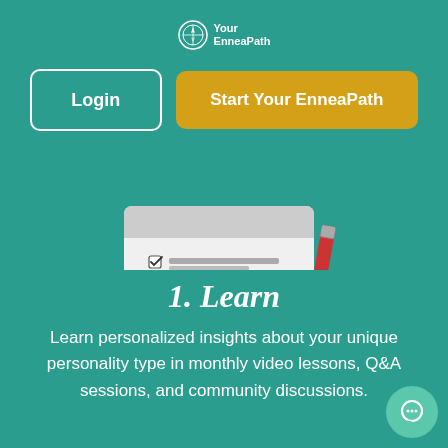Your EnneaPath
Login
Start Your EnneaPath
[Figure (illustration): Flat design illustration of a checklist/quiz form with checkboxes and a red pencil, shown on a teal oval shadow background.]
1. Learn
Learn personalized insights about your unique personality type in monthly video lessons, Q&A sessions, and community discussions.